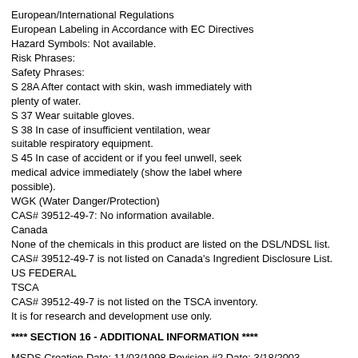European/International Regulations
European Labeling in Accordance with EC Directives
Hazard Symbols: Not available.
Risk Phrases:
Safety Phrases:
S 28A After contact with skin, wash immediately with plenty of water.
S 37 Wear suitable gloves.
S 38 In case of insufficient ventilation, wear suitable respiratory equipment.
S 45 In case of accident or if you feel unwell, seek medical advice immediately (show the label where possible).
WGK (Water Danger/Protection)
CAS# 39512-49-7: No information available.
Canada
None of the chemicals in this product are listed on the DSL/NDSL list.
CAS# 39512-49-7 is not listed on Canada's Ingredient Disclosure List.
US FEDERAL
TSCA
CAS# 39512-49-7 is not listed on the TSCA inventory.
It is for research and development use only.
**** SECTION 16 - ADDITIONAL INFORMATION ****
MSDS Creation Date: 11/03/1998 Revision #2 Date: 3/18/2003
The information above is believed to be accurate and represents the best information currently available to us. However, we make no warranty of merchantability or any other warranty, express or implied, with respect to such information, and we assume no liability resulting from its use. Users